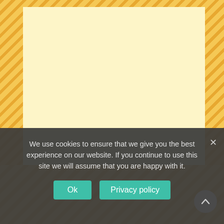[Figure (illustration): Background with diagonal orange/yellow stripes pattern and a centered light cream/yellow inner rectangle area, representing a webpage background with decorative stripe borders]
We use cookies to ensure that we give you the best experience on our website. If you continue to use this site we will assume that you are happy with it.
Ok
Privacy policy